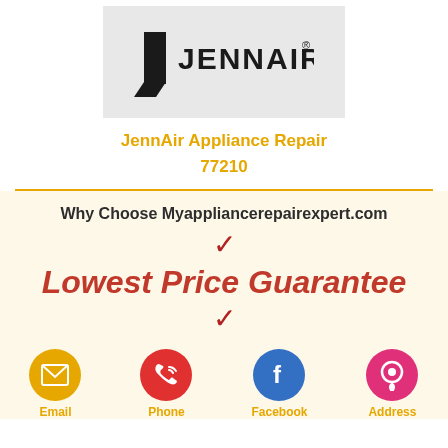[Figure (logo): JennAir brand logo with stylized J icon and JENN-AIR text on a light gray background]
JennAir Appliance Repair
77210
[Figure (infographic): Why Choose Myappliancerepairexpert.com section with checkmarks and Lowest Price Guarantee text on a cream background, with bottom icon bar showing Email, Phone, Facebook, Address links]